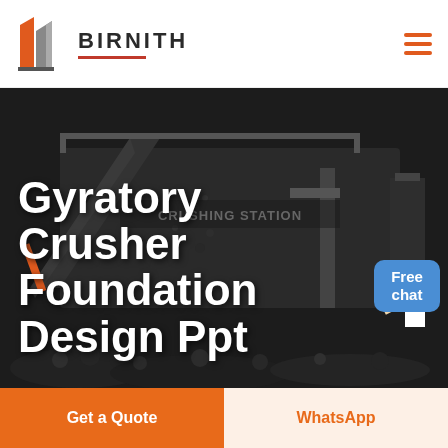[Figure (logo): Birnith logo with orange and grey building icon and red underline beneath the company name]
BIRNITH
[Figure (photo): Industrial crushing station machinery with rock/ore material in dark background]
Gyratory Crusher Foundation Design Ppt
Free chat
Get a Quote
WhatsApp